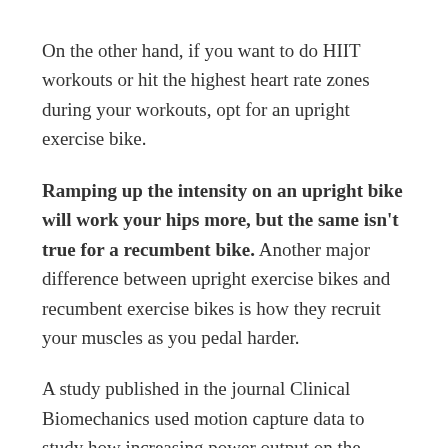On the other hand, if you want to do HIIT workouts or hit the highest heart rate zones during your workouts, opt for an upright exercise bike.
Ramping up the intensity on an upright bike will work your hips more, but the same isn't true for a recumbent bike. Another major difference between upright exercise bikes and recumbent exercise bikes is how they recruit your muscles as you pedal harder.
A study published in the journal Clinical Biomechanics used motion capture data to study how increasing power output on the recumbent bike affected power production in your legs (3).